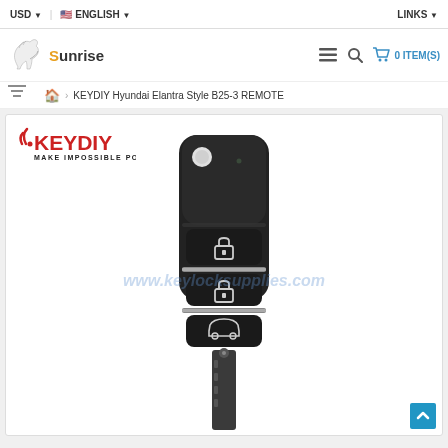USD  |  ENGLISH  |  LINKS
[Figure (logo): Sunrise horse logo with text 'Sunrise' and navigation icons including hamburger menu, search, and cart showing 0 ITEM(S)]
Home > KEYDIY Hyundai Elantra Style B25-3 REMOTE
[Figure (photo): Product image of a black KEYDIY Hyundai Elantra Style B25-3 flip key remote with 3 buttons (lock, unlock, trunk). KEYDIY logo and 'MAKE IMPOSSIBLE POSSIBLE' tagline visible at top left. Watermark text www.keylocksupplies.com overlaid. Product shown on white background.]